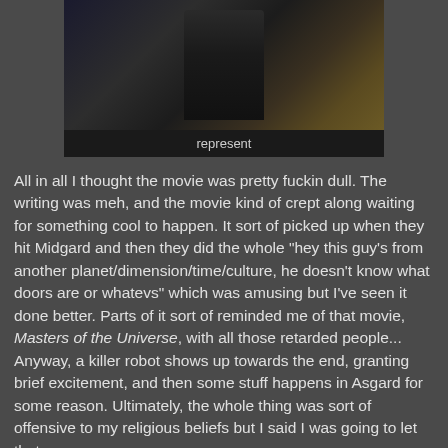[Figure (photo): A screenshot from a movie showing a dark figure in armor against a golden ornate background. Below the image is a dark caption bar.]
represent
All in all I thought the movie was pretty fuckin dull. The writing was meh, and the movie kind of crept along waiting for something cool to happen. It sort of picked up when they hit Midgard and then they did the whole "hey this guy's from another planet/dimension/time/culture, he doesn't know what doors are or whatevs" which was amusing but I've seen it done better. Parts of it sort of reminded me of that movie, Masters of the Universe, with all those retarded people...
Anyway, a killer robot shows up towards the end, granting brief excitement, and then some stuff happens in Asgard for some reason. Ultimately, the whole thing was sort of offensive to my religious beliefs but I said I was going to let that go.